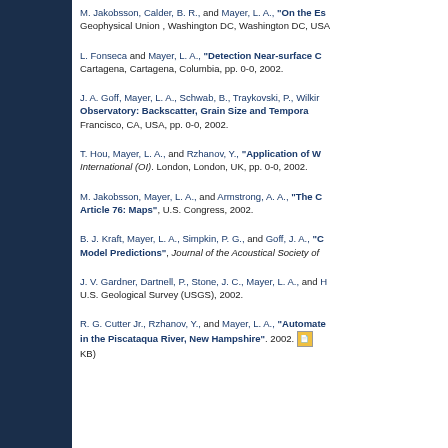M. Jakobsson, Calder, B. R., and Mayer, L. A., "On the Es..." Geophysical Union , Washington DC, Washington DC, USA...
L. Fonseca and Mayer, L. A., "Detection Near-surface C..." Cartagena, Cartagena, Columbia, pp. 0-0, 2002.
J. A. Goff, Mayer, L. A., Schwab, B., Traykovski, P., Wilkir... "Observatory: Backscatter, Grain Size and Tempora..." Francisco, CA, USA, pp. 0-0, 2002.
T. Hou, Mayer, L. A., and Rzhanov, Y., "Application of V..." International (OI). London, London, UK, pp. 0-0, 2002.
M. Jakobsson, Mayer, L. A., and Armstrong, A. A., "The C... Article 76: Maps", U.S. Congress, 2002.
B. J. Kraft, Mayer, L. A., Simpkin, P. G., and Goff, J. A., "C... Model Predictions", Journal of the Acoustical Society of...
J. V. Gardner, Dartnell, P., Stone, J. C., Mayer, L. A., and H... U.S. Geological Survey (USGS), 2002.
R. G. Cutter Jr., Rzhanov, Y., and Mayer, L. A., "Automate... in the Piscataqua River, New Hampshire". 2002. KB)